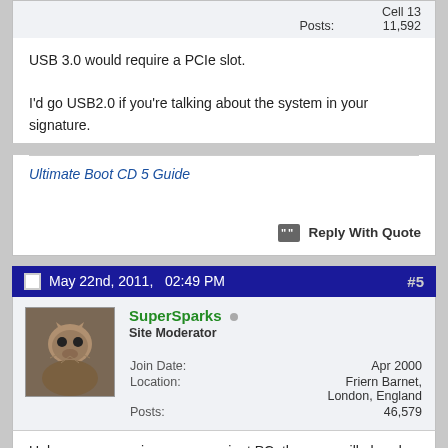Cell 13
Posts: 11,592
USB 3.0 would require a PCIe slot.

I'd go USB2.0 if you're talking about the system in your signature.
Ultimate Boot CD 5 Guide
Reply With Quote
May 22nd, 2011,   02:49 PM  #5
SuperSparks
Site Moderator
Join Date: Apr 2000
Location: Friern Barnet, London, England
Posts: 46,579
Unless you are using a very ancient PC, then you will already have USB2. In the real world, there are only a relatively few uses where either Firewire or USB3 would have a significant benefit over USB2. Transferring large video files from a video camera, or large files from an